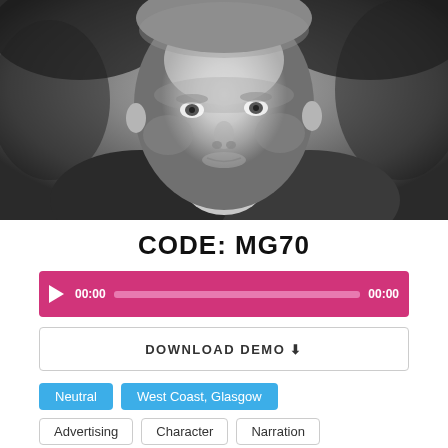[Figure (photo): Black and white headshot photograph of a man, close-up portrait, wearing a jacket, looking at camera.]
CODE: MG70
[Figure (other): Audio player bar with pink/magenta background, play button, time 00:00 on left and 00:00 on right, progress bar in middle.]
DOWNLOAD DEMO ⬇
Neutral   West Coast, Glasgow
Advertising   Character   Narration